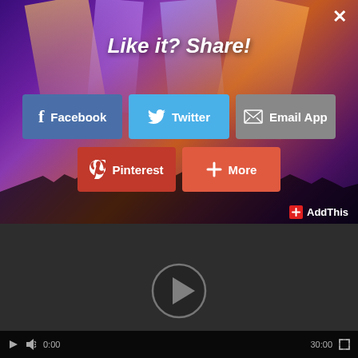[Figure (screenshot): Concert crowd with stage lights in purple and orange tones, serving as background for a social sharing modal overlay. Below the modal is a dark video player area with a play button.]
Like it? Share!
Facebook
Twitter
Email App
Pinterest
More
AddThis
0:00
30:00